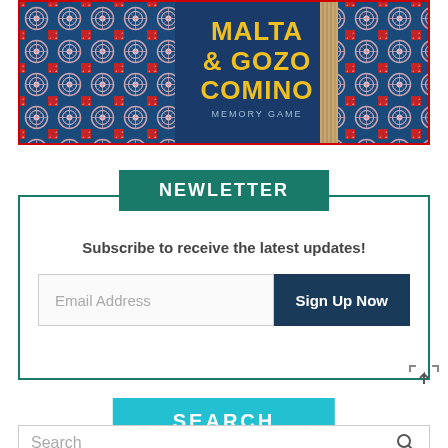[Figure (photo): Malta & Gozo Comino Memory Game product photo showing a book/box with decorative Maltese tile patterns in blue/white/red, and the title in yellow text on a dark blue background, with rope/twine binding visible on the right side.]
NEWLETTER
Subscribe to receive the latest updates!
Email Address
Sign Up Now
SEARCH
Search